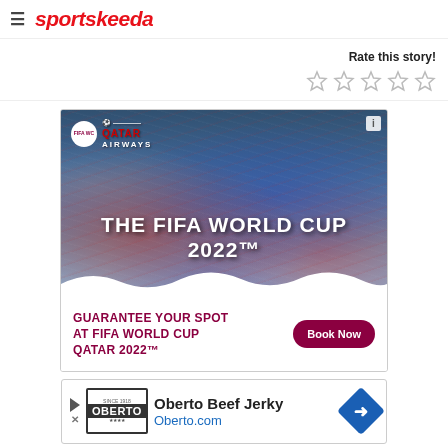sportskeeda
Rate this story!
[Figure (other): Five empty star rating icons for rating the story]
[Figure (other): Advertisement for The FIFA World Cup 2022™ by Qatar Airways. Shows crowd of fans in stadium background with text 'THE FIFA WORLD CUP 2022™'. Bottom section reads 'GUARANTEE YOUR SPOT AT FIFA WORLD CUP QATAR 2022™' with a 'Book Now' button.]
[Figure (other): Advertisement for Oberto Beef Jerky showing Oberto logo and Oberto.com URL with a blue diamond arrow icon.]